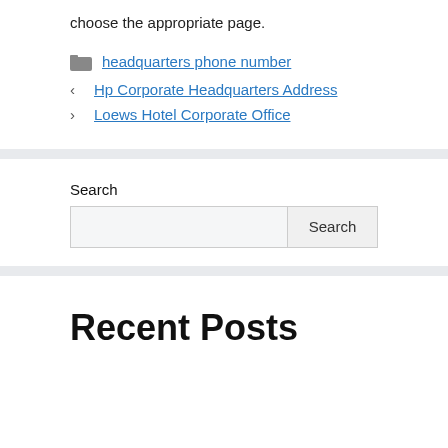choose the appropriate page.
headquarters phone number
Hp Corporate Headquarters Address
Loews Hotel Corporate Office
Search
Recent Posts